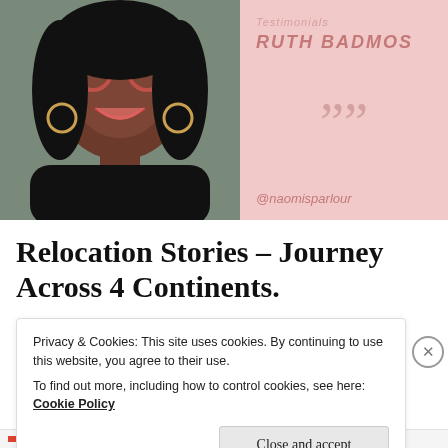[Figure (photo): Smiling woman with glasses and red lipstick wearing a black top, with hoop earrings and wavy hair]
Testimonials
RUTH BADMOS
””
@naomisparlour
Relocation Stories – Journey Across 4 Continents.
Privacy & Cookies: This site uses cookies. By continuing to use this website, you agree to their use.
To find out more, including how to control cookies, see here: Cookie Policy
Close and accept